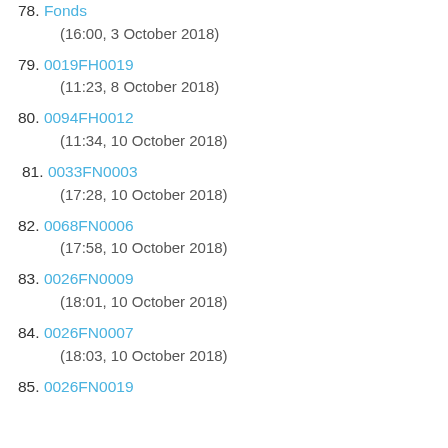78. Fonds
(16:00, 3 October 2018)
79. 0019FH0019
(11:23, 8 October 2018)
80. 0094FH0012
(11:34, 10 October 2018)
81. 0033FN0003
(17:28, 10 October 2018)
82. 0068FN0006
(17:58, 10 October 2018)
83. 0026FN0009
(18:01, 10 October 2018)
84. 0026FN0007
(18:03, 10 October 2018)
85. 0026FN0019 (partial)